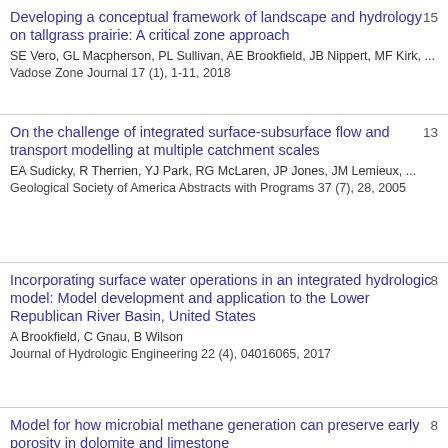Developing a conceptual framework of landscape and hydrology on tallgrass prairie: A critical zone approach
SE Vero, GL Macpherson, PL Sullivan, AE Brookfield, JB Nippert, MF Kirk, ...
Vadose Zone Journal 17 (1), 1-11, 2018
15
On the challenge of integrated surface-subsurface flow and transport modelling at multiple catchment scales
EA Sudicky, R Therrien, YJ Park, RG McLaren, JP Jones, JM Lemieux, ...
Geological Society of America Abstracts with Programs 37 (7), 28, 2005
13
Incorporating surface water operations in an integrated hydrologic model: Model development and application to the Lower Republican River Basin, United States
A Brookfield, C Gnau, B Wilson
Journal of Hydrologic Engineering 22 (4), 04016065, 2017
8
Model for how microbial methane generation can preserve early porosity in dolomite and limestone
8